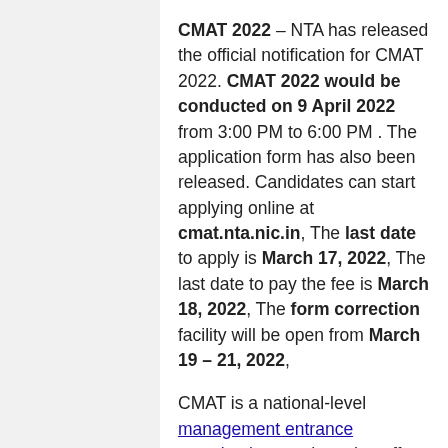CMAT 2022 – NTA has released the official notification for CMAT 2022. CMAT 2022 would be conducted on 9 April 2022 from 3:00 PM to 6:00 PM . The application form has also been released. Candidates can start applying online at cmat.nta.nic.in, The last date to apply is March 17, 2022, The last date to pay the fee is March 18, 2022, The form correction facility will be open from March 19 – 21, 2022,
CMAT is a national-level management entrance examination conducted to offer admissions in management programs. All those